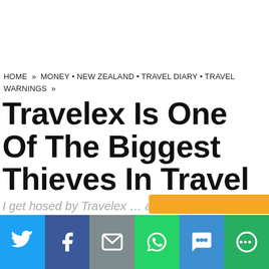HOME » MONEY • NEW ZEALAND • TRAVEL DIARY • TRAVEL WARNINGS »
Travelex Is One Of The Biggest Thieves In Travel
I get hosed by Travelex … again.
Published on September 3, 2017 by VBJ
Follow me on Twitter here.